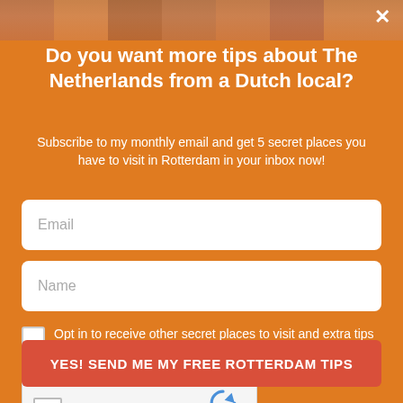[Figure (photo): Photo strip at top showing Dutch buildings with colorful facades, church spire visible in background]
Do you want more tips about The Netherlands from a Dutch local?
Subscribe to my monthly email and get 5 secret places you have to visit in Rotterdam in your inbox now!
Email
Name
Opt in to receive other secret places to visit and extra tips about The Netherlands
[Figure (screenshot): reCAPTCHA widget with checkbox, 'I'm not a robot' label, reCAPTCHA logo, and Privacy - Terms links]
YES! SEND ME MY FREE ROTTERDAM TIPS